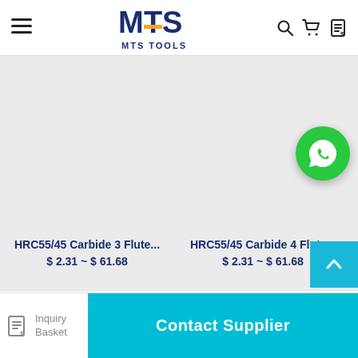[Figure (logo): MTS Tools logo with stylized M T S letters in dark blue and an orange accent bar, with 'MTS TOOLS' text below]
[Figure (illustration): WhatsApp contact button - green circle with white phone handset icon]
HRC55/45 Carbide 3 Flute...
$ 2.31 ~ $ 61.68
HRC55/45 Carbide 4 Flute...
$ 2.31 ~ $ 61.68
Inquiry Basket
Contact Supplier